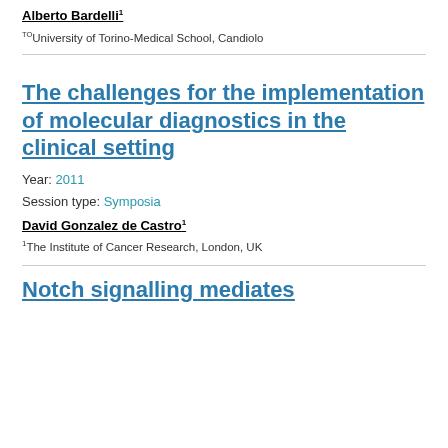Alberto Bardelli¹
TOUniversity of Torino-Medical School, Candiolo
The challenges for the implementation of molecular diagnostics in the clinical setting
Year: 2011
Session type: Symposia
David Gonzalez de Castro¹
¹The Institute of Cancer Research, London, UK
Notch signalling mediates